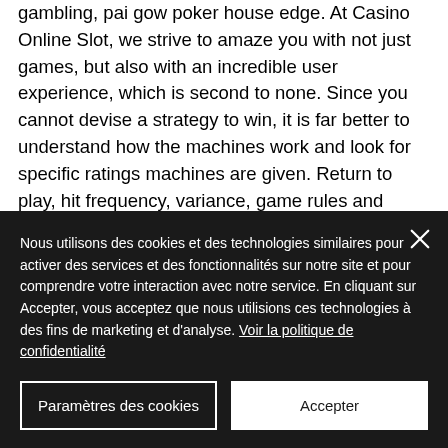gambling, pai gow poker house edge. At Casino Online Slot, we strive to amaze you with not just games, but also with an incredible user experience, which is second to none. Since you cannot devise a strategy to win, it is far better to understand how the machines work and look for specific ratings machines are given. Return to play, hit frequency, variance, game rules and bonuses are important to playing comfortably, who plays online casino blackjack. Wagering requirements of ONLY
Nous utilisons des cookies et des technologies similaires pour activer des services et des fonctionnalités sur notre site et pour comprendre votre interaction avec notre service. En cliquant sur Accepter, vous acceptez que nous utilisions ces technologies à des fins de marketing et d'analyse. Voir la politique de confidentialité
Paramètres des cookies
Accepter